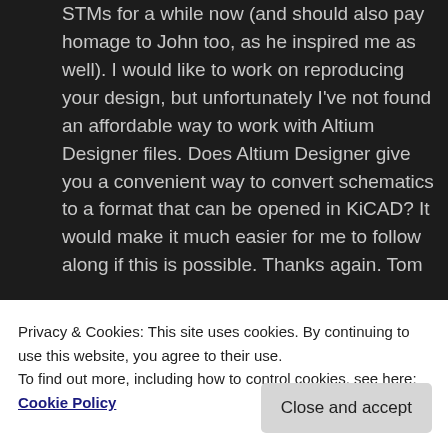STMs for a while now (and should also pay homage to John too, as he inspired me as well). I would like to work on reproducing your design, but unfortunately I've not found an affordable way to work with Altium Designer files. Does Altium Designer give you a convenient way to convert schematics to a format that can be opened in KiCAD? It would make it much easier for me to follow along if this is possible. Thanks again. Tom
★ Like
Reply ↓
Privacy & Cookies: This site uses cookies. By continuing to use this website, you agree to their use.
To find out more, including how to control cookies, see here: Cookie Policy
Close and accept
give this a try? https://kicad